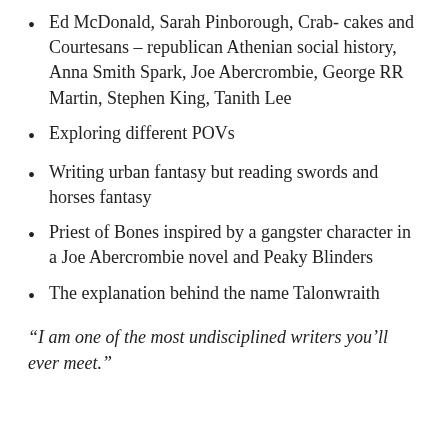Ed McDonald, Sarah Pinborough, Crab- cakes and Courtesans – republican Athenian social history, Anna Smith Spark, Joe Abercrombie, George RR Martin, Stephen King, Tanith Lee
Exploring different POVs
Writing urban fantasy but reading swords and horses fantasy
Priest of Bones inspired by a gangster character in a Joe Abercrombie novel and Peaky Blinders
The explanation behind the name Talonwraith
“I am one of the most undisciplined writers you’ll ever meet.”